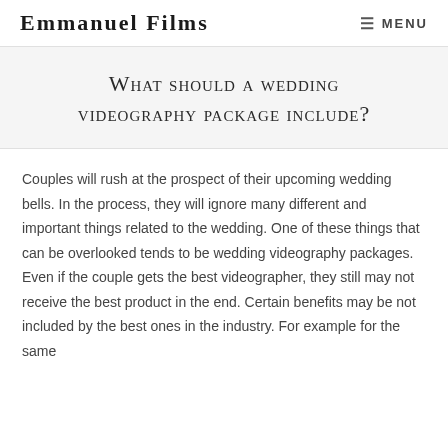Emmanuel Films  ☰ MENU
What should a wedding videography package include?
Couples will rush at the prospect of their upcoming wedding bells. In the process, they will ignore many different and important things related to the wedding. One of these things that can be overlooked tends to be wedding videography packages. Even if the couple gets the best videographer, they still may not receive the best product in the end. Certain benefits may be not included by the best ones in the industry. For example for the same